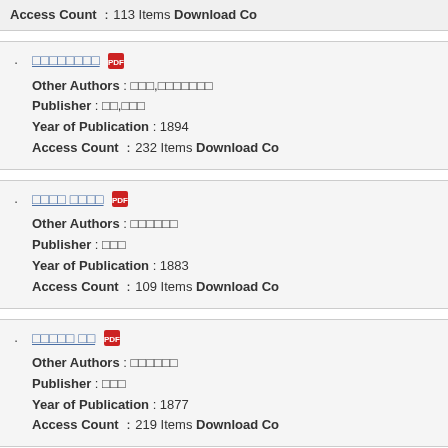Access Count：113 Items Download Co
□□□□□□□□ [PDF] Other Authors : □□□,□□□□□□□ Publisher : □□,□□□ Year of Publication : 1894 Access Count：232 Items Download Co
□□□□ □□□□ [PDF] Other Authors : □□□□□□ Publisher : □□□ Year of Publication : 1883 Access Count：109 Items Download Co
□□□□□ □□ [PDF] Other Authors : □□□□□□ Publisher : □□□ Year of Publication : 1877 Access Count：219 Items Download Co
□□□□□□□□□ □□□ [PDF] Other Authors : □□□□□□